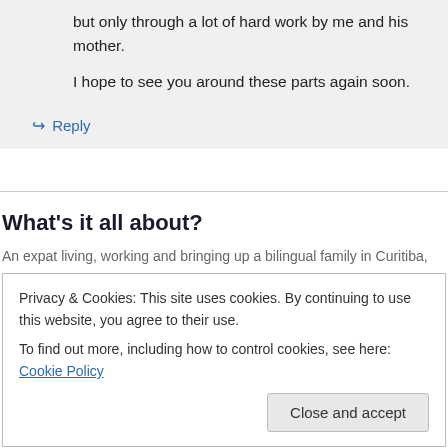but only through a lot of hard work by me and his mother.

I hope to see you around these parts again soon.
↪ Reply
What's it all about?
An expat living, working and bringing up a bilingual family in Curitiba,
Privacy & Cookies: This site uses cookies. By continuing to use this website, you agree to their use.
To find out more, including how to control cookies, see here: Cookie Policy
Close and accept
new posts by email.